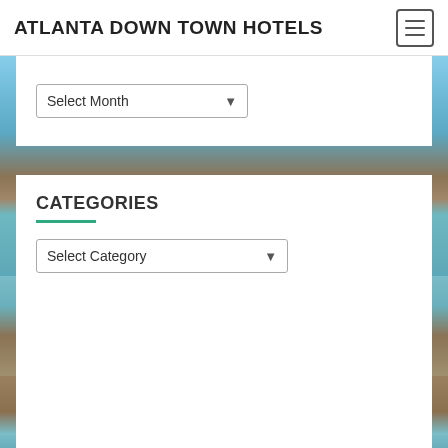ATLANTA DOWN TOWN HOTELS
[Figure (screenshot): Select Month dropdown widget on white card]
[Figure (photo): Tropical beach resort with overwater bungalows and turquoise water, wooden dock with a person sitting]
CATEGORIES
[Figure (screenshot): Select Category dropdown widget on white card]
[Figure (photo): Wooden dock over turquoise tropical water, bottom portion]